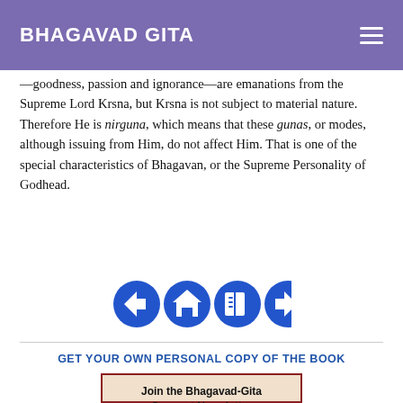BHAGAVAD GITA
—goodness, passion and ignorance—are emanations from the Supreme Lord Krsna, but Krsna is not subject to material nature. Therefore He is nirguna, which means that these gunas, or modes, although issuing from Him, do not affect Him. That is one of the special characteristics of Bhagavan, or the Supreme Personality of Godhead.
[Figure (other): Navigation icons: back arrow, home, contents/book, forward arrow — all in blue circle style]
GET YOUR OWN PERSONAL COPY OF THE BOOK
[Figure (other): Promotional box with beige/cream background and dark red border containing text 'Join the Bhagavad-Gita Connect Newsletter' and an illustration of a fountain pen]